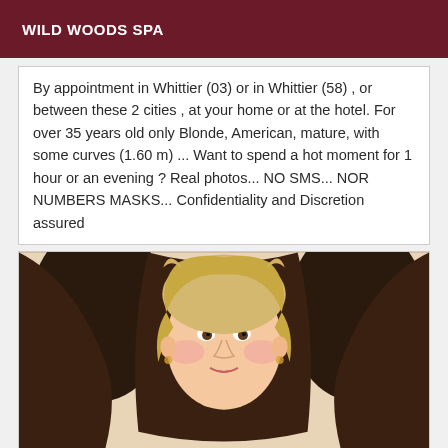WILD WOODS SPA
By appointment in Whittier (03) or in Whittier (58) , or between these 2 cities , at your home or at the hotel. For over 35 years old only Blonde, American, mature, with some curves (1.60 m) ... Want to spend a hot moment for 1 hour or an evening ? Real photos... NO SMS... NOR NUMBERS MASKS... Confidentiality and Discretion assured
[Figure (photo): Photo of a blonde woman with short hair, smiling, with dark arms visible behind her shoulders]